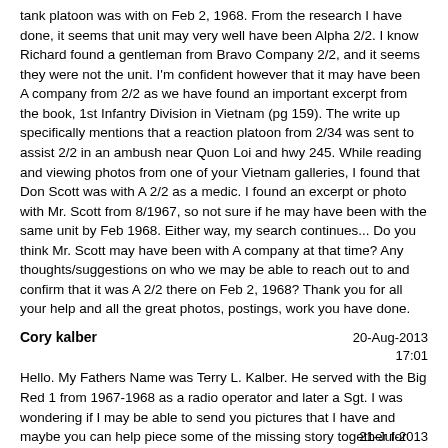tank platoon was with on Feb 2, 1968. From the research I have done, it seems that unit may very well have been Alpha 2/2. I know Richard found a gentleman from Bravo Company 2/2, and it seems they were not the unit. I'm confident however that it may have been A company from 2/2 as we have found an important excerpt from the book, 1st Infantry Division in Vietnam (pg 159). The write up specifically mentions that a reaction platoon from 2/34 was sent to assist 2/2 in an ambush near Quon Loi and hwy 245. While reading and viewing photos from one of your Vietnam galleries, I found that Don Scott was with A 2/2 as a medic. I found an excerpt or photo with Mr. Scott from 8/1967, so not sure if he may have been with the same unit by Feb 1968. Either way, my search continues... Do you think Mr. Scott may have been with A company at that time? Any thoughts/suggestions on who we may be able to reach out to and confirm that it was A 2/2 there on Feb 2, 1968? Thank you for all your help and all the great photos, postings, work you have done.
Cory kalber
20-Aug-2013 17:01
Hello. My Fathers Name was Terry L. Kalber. He served with the Big Red 1 from 1967-1968 as a radio operator and later a Sgt. I was wondering if I may be able to send you pictures that I have and maybe you can help piece some of the missing story together for me! Thank you very much in advance. - cka1ber@gmail.com
21-Jul-2013